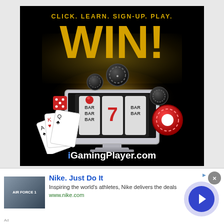[Figure (illustration): iGamingPlayer.com casino advertisement on black background. Text reads 'CLICK. LEARN. SIGN-UP. PLAY.' above large gold 'WIN!' text. Center shows a computer monitor with slot machine reels showing 7 and BAR symbols, casino chips, playing cards, and a glowing light effect. Bottom text: iGamingPlayer.com]
[Figure (illustration): Nike banner ad strip at bottom. Shows Nike Air Force 1 shoe thumbnail on left. Text: 'Nike. Just Do It' in blue bold, 'Inspiring the world's athletes, Nike delivers the deals', 'www.nike.com' in green. Blue circular forward arrow button on right. Close X button top right. Small ad attribution triangle top right corner.]